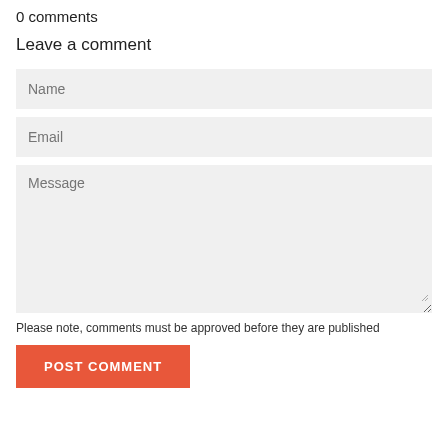0 comments
Leave a comment
Name
Email
Message
Please note, comments must be approved before they are published
POST COMMENT